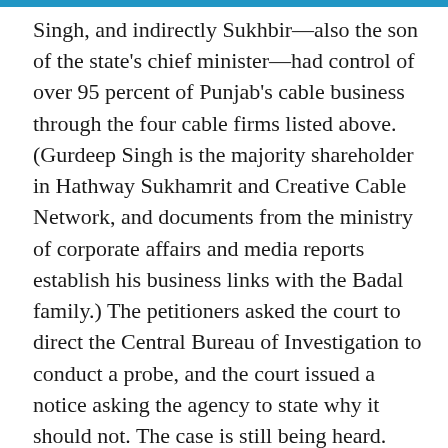Singh, and indirectly Sukhbir—also the son of the state's chief minister—had control of over 95 percent of Punjab's cable business through the four cable firms listed above. (Gurdeep Singh is the majority shareholder in Hathway Sukhamrit and Creative Cable Network, and documents from the ministry of corporate affairs and media reports establish his business links with the Badal family.) The petitioners asked the court to direct the Central Bureau of Investigation to conduct a probe, and the court issued a notice asking the agency to state why it should not. The case is still being heard.
Political ownership of cable firms, whether direct or indirect, creates at least three risks to the public